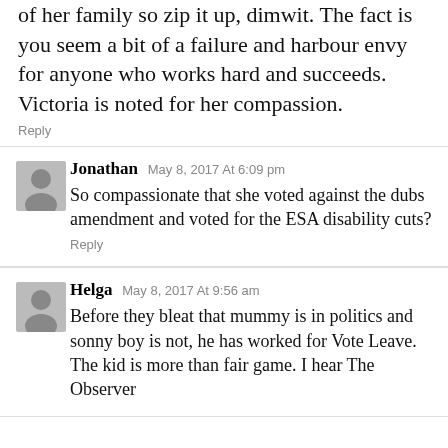of her family so zip it up, dimwit. The fact is you seem a bit of a failure and harbour envy for anyone who works hard and succeeds. Victoria is noted for her compassion.
Reply
Jonathan May 8, 2017 At 6:09 pm
So compassionate that she voted against the dubs amendment and voted for the ESA disability cuts?
Reply
Helga May 8, 2017 At 9:56 am
Before they bleat that mummy is in politics and sonny boy is not, he has worked for Vote Leave. The kid is more than fair game. I hear The Observer